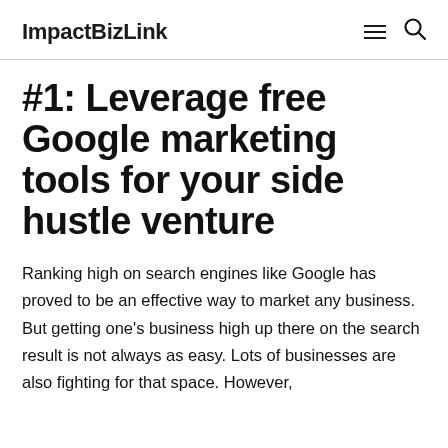ImpactBizLink
#1: Leverage free Google marketing tools for your side hustle venture
Ranking high on search engines like Google has proved to be an effective way to market any business. But getting one's business high up there on the search result is not always as easy. Lots of businesses are also fighting for that space. However,